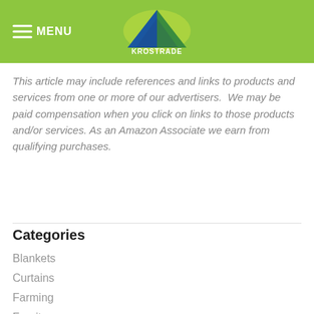MENU | KROSTRADE
This article may include references and links to products and services from one or more of our advertisers.  We may be paid compensation when you click on links to those products and/or services. As an Amazon Associate we earn from qualifying purchases.
Categories
Blankets
Curtains
Farming
Furniture
Health
Housekeeping